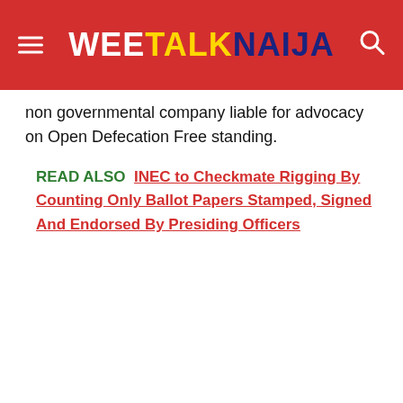WEE TALK NAIJA
non governmental company liable for advocacy on Open Defecation Free standing.
READ ALSO  INEC to Checkmate Rigging By Counting Only Ballot Papers Stamped, Signed And Endorsed By Presiding Officers